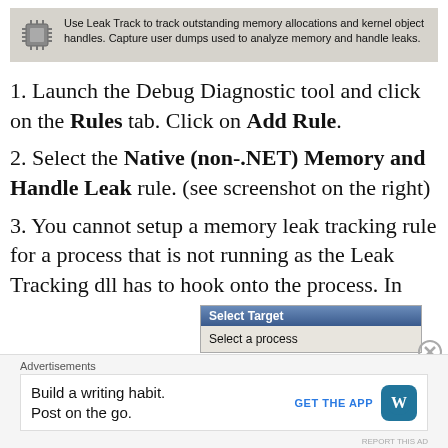[Figure (screenshot): Info box with chip/circuit icon and text about Leak Track tool for tracking memory allocations and kernel object handles.]
1. Launch the Debug Diagnostic tool and click on the Rules tab. Click on Add Rule.
2. Select the Native (non-.NET) Memory and Handle Leak rule. (see screenshot on the right)
3. You cannot setup a memory leak tracking rule for a process that is not running as the Leak Tracking dll has to hook onto the process. In this example, I
[Figure (screenshot): Dialog box showing 'Select Target' title bar and 'Select a process' option in the body.]
Advertisements
[Figure (infographic): Advertisement: Build a writing habit. Post on the go. GET THE APP with WordPress logo.]